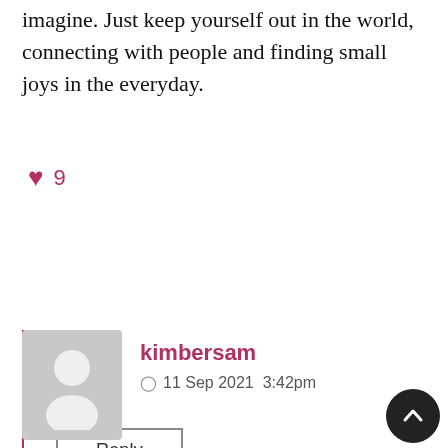imagine. Just keep yourself out in the world, connecting with people and finding small joys in the everyday.
♥ 9
Reply
kimbersam
11 Sep 2021  3:42pm
Stephanie, I am sorry that you are having a hard time changing careers. I have been there. You are probably already doing this but have you been working on extending your network/LinkedIn? For me, at least, I don't